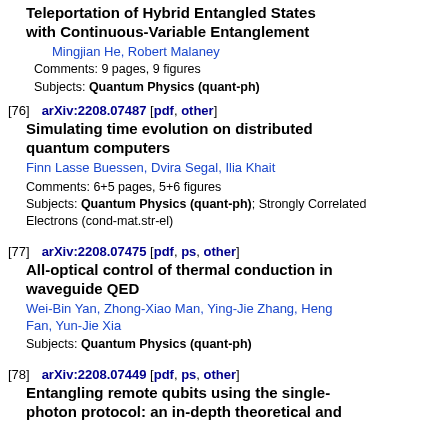Teleportation of Hybrid Entangled States with Continuous-Variable Entanglement
Mingjian He, Robert Malaney
Comments: 9 pages, 9 figures
Subjects: Quantum Physics (quant-ph)
[76] arXiv:2208.07487 [pdf, other]
Simulating time evolution on distributed quantum computers
Finn Lasse Buessen, Dvira Segal, Ilia Khait
Comments: 6+5 pages, 5+6 figures
Subjects: Quantum Physics (quant-ph); Strongly Correlated Electrons (cond-mat.str-el)
[77] arXiv:2208.07475 [pdf, ps, other]
All-optical control of thermal conduction in waveguide QED
Wei-Bin Yan, Zhong-Xiao Man, Ying-Jie Zhang, Heng Fan, Yun-Jie Xia
Subjects: Quantum Physics (quant-ph)
[78] arXiv:2208.07449 [pdf, ps, other]
Entangling remote qubits using the single-photon protocol: an in-depth theoretical and